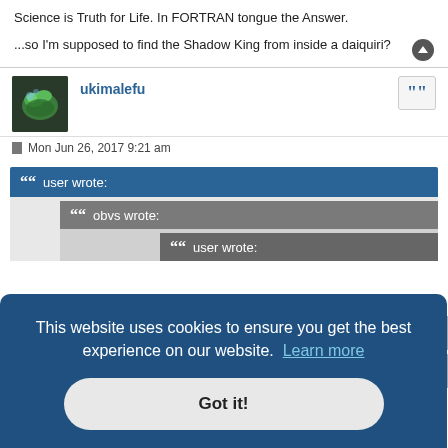Science is Truth for Life. In FORTRAN tongue the Answer.
...so I'm supposed to find the Shadow King from inside a daiquiri?
ukimalefu
Mon Jun 26, 2017 9:21 am
user wrote:
obvs wrote:
user wrote:
This website uses cookies to ensure you get the best experience on our website.  Learn more
Got it!